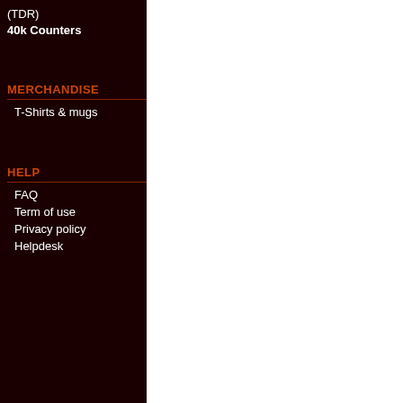(TDR)
40k Counters
MERCHANDISE
T-Shirts & mugs
HELP
FAQ
Term of use
Privacy policy
Helpdesk